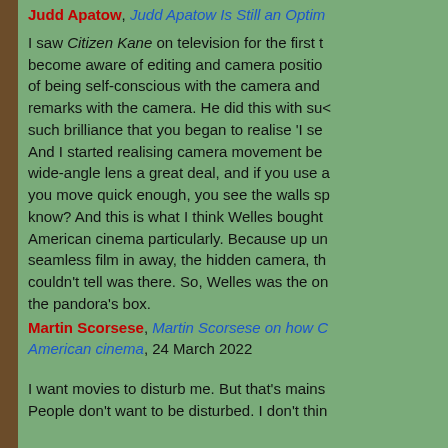Judd Apatow, Judd Apatow Is Still an Optim...
I saw Citizen Kane on television for the first t... become aware of editing and camera positio... of being self-conscious with the camera and ... remarks with the camera. He did this with su... such brilliance that you began to realise 'I se... And I started realising camera movement be... wide-angle lens a great deal, and if you use a... you move quick enough, you see the walls sp... know? And this is what I think Welles bought... American cinema particularly. Because up un... seamless film in away, the hidden camera, th... couldn't tell was there. So, Welles was the on... the pandora's box.
Martin Scorsese, Martin Scorsese on how C... American cinema, 24 March 2022
I want movies to disturb me. But that's mains... People don't want to be disturbed. I don't thin...